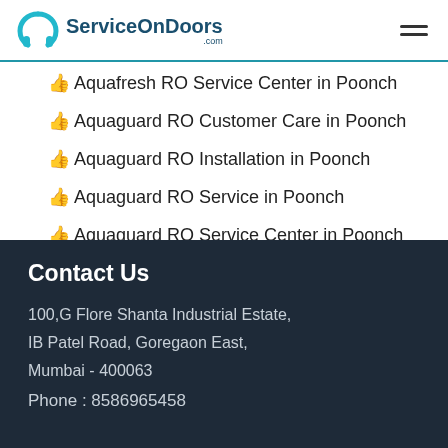ServiceOnDoors.com
👍Aquafresh RO Service Center in Poonch
👍Aquaguard RO Customer Care in Poonch
👍Aquaguard RO Installation in Poonch
👍Aquaguard RO Service in Poonch
👍Aquaguard RO Service Center in Poonch
👍AquaSoft RO Customer Service in Poonch (partially visible)
Contact Us
100,G Flore Shanta Industrial Estate,
IB Patel Road, Goregaon East,
Mumbai - 400063
Phone : 8586965458